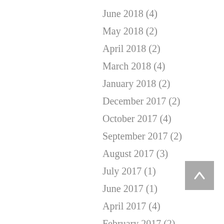June 2018 (4)
May 2018 (2)
April 2018 (2)
March 2018 (4)
January 2018 (2)
December 2017 (2)
October 2017 (4)
September 2017 (2)
August 2017 (3)
July 2017 (1)
June 2017 (1)
April 2017 (4)
February 2017 (2)
December 2016 (1)
November 2016 (2)
September 2016 (2)
August 2016 (4)